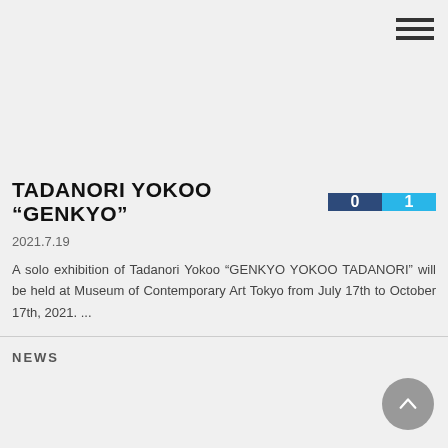[Figure (other): Hamburger menu icon with three horizontal lines in top-right corner]
TADANORI YOKOO “GENKYO”
2021.7.19
A solo exhibition of Tadanori Yokoo “GENKYO YOKOO TADANORI” will be held at Museum of Contemporary Art Tokyo from July 17th to October 17th, 2021. ...
NEWS